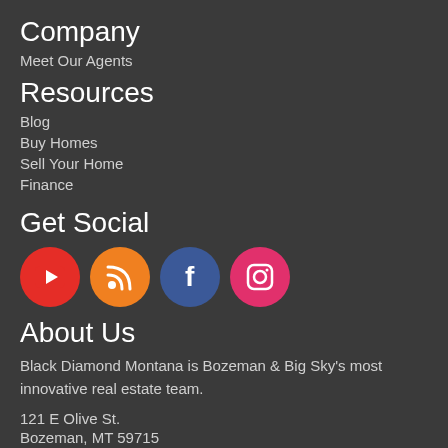Company
Meet Our Agents
Resources
Blog
Buy Homes
Sell Your Home
Finance
Get Social
[Figure (infographic): Four social media icons in circles: YouTube (red), RSS (orange), Facebook (blue), Instagram (pink/magenta)]
About Us
Black Diamond Montana is Bozeman & Big Sky's most innovative real estate team.
121 E Olive St.
Bozeman, MT 59715